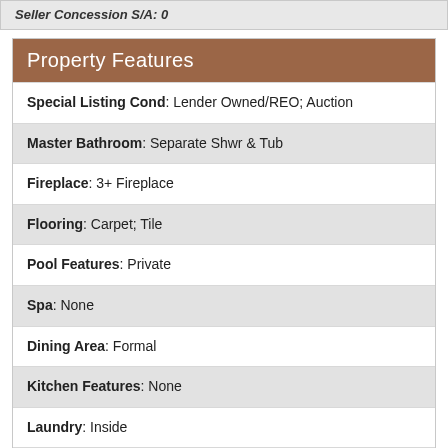Seller Concession S/A: 0
Property Features
Special Listing Cond: Lender Owned/REO; Auction
Master Bathroom: Separate Shwr & Tub
Fireplace: 3+ Fireplace
Flooring: Carpet; Tile
Pool Features: Private
Spa: None
Dining Area: Formal
Kitchen Features: None
Laundry: Inside
Construction: Frame - Wood
Const - Finish: Painted; Stucco